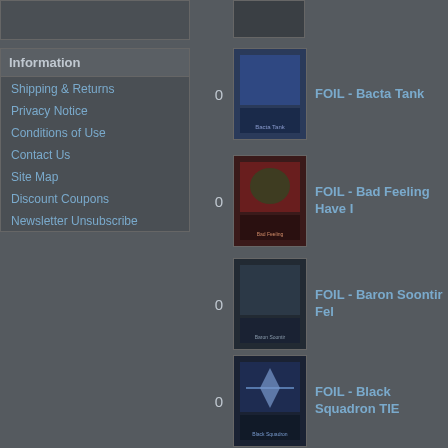Information
Shipping & Returns
Privacy Notice
Conditions of Use
Contact Us
Site Map
Discount Coupons
Newsletter Unsubscribe
0  FOIL - Bacta Tank
0  FOIL - Bad Feeling Have I
0  FOIL - Baron Soontir Fel
0  FOIL - Black Squadron TIE
1  FOIL - Blue Squadron B-wing
0  FOIL - Boba Fett In Slave